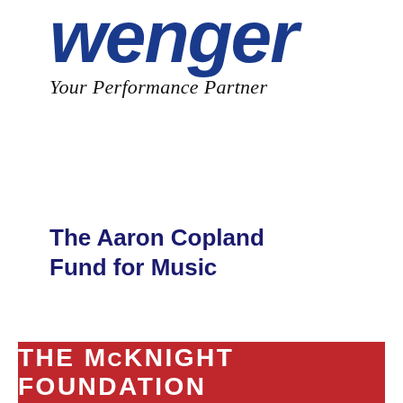[Figure (logo): Wenger logo with italic bold blue text 'wenger' and tagline 'Your Performance Partner' in italic serif below]
The Aaron Copland Fund for Music
[Figure (logo): The McKnight Foundation logo — white bold text on a red/crimson banner background]